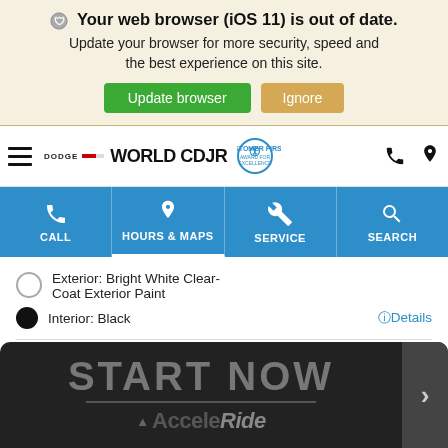Your web browser (iOS 11) is out of date. Update your browser for more security, speed and the best experience on this site. Update browser | Ignore
[Figure (screenshot): World CDJR dealership website navigation bar with Dodge logo, World CDJR text, Customer First badge, phone and location icons, and blue navigation buttons: CALL, HOURS & MAPS, SERVICE, SEARCH]
Exterior: Bright White Clear-Coat Exterior Paint
Interior: Black
Details
MSRP*   $43,480
[Figure (screenshot): AcceleRide START NOW banner advertisement with arrow button on dark background]